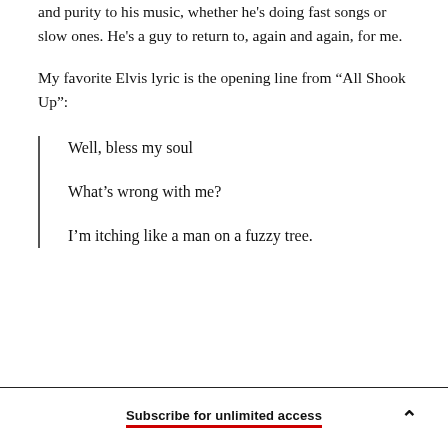and purity to his music, whether he's doing fast songs or slow ones. He's a guy to return to, again and again, for me.
My favorite Elvis lyric is the opening line from “All Shook Up”:
Well, bless my soul
What’s wrong with me?
I’m itching like a man on a fuzzy tree.
Subscribe for unlimited access